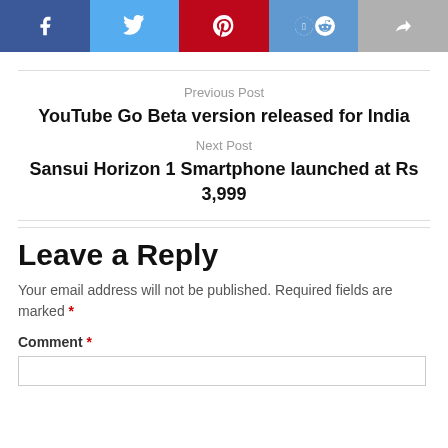[Figure (other): Social share bar with Facebook, Twitter, Pinterest, Reddit, and generic share buttons]
Previous Post
YouTube Go Beta version released for India
Next Post
Sansui Horizon 1 Smartphone launched at Rs 3,999
Leave a Reply
Your email address will not be published. Required fields are marked *
Comment *